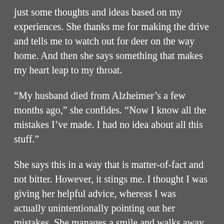just some thoughts and ideas based on my experiences. She thanks me for making the drive and tells me to watch out for deer on the way home. And then she says something that makes my heart leap to my throat.
“My husband died from Alzheimer’s a few months ago,” she confides. “Now I know all the mistakes I’ve made. I had no idea about all this stuff.”
She says this in a way that is matter-of-fact and not bitter. However, it stings me. I thought I was giving her helpful advice, whereas I was actually unintentionally pointing out her mistakes. She manages a smile and walks away.
I turn my attention to the next person in the line, but something nags at me. A part of me wants to